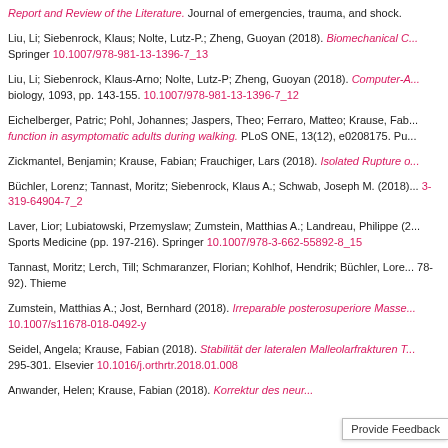Report and Review of the Literature. Journal of emergencies, trauma, and shock.
Liu, Li; Siebenrock, Klaus; Nolte, Lutz-P.; Zheng, Guoyan (2018). Biomechanical C... Springer 10.1007/978-981-13-1396-7_13
Liu, Li; Siebenrock, Klaus-Arno; Nolte, Lutz-P; Zheng, Guoyan (2018). Computer-A... biology, 1093, pp. 143-155. 10.1007/978-981-13-1396-7_12
Eichelberger, Patric; Pohl, Johannes; Jaspers, Theo; Ferraro, Matteo; Krause, Fab... function in asymptomatic adults during walking. PLoS ONE, 13(12), e0208175. Pu...
Zickmantel, Benjamin; Krause, Fabian; Frauchiger, Lars (2018). Isolated Rupture o...
Büchler, Lorenz; Tannast, Moritz; Siebenrock, Klaus A.; Schwab, Joseph M. (2018)... 3-319-64904-7_2
Laver, Lior; Lubiatowski, Przemyslaw; Zumstein, Matthias A.; Landreau, Philippe (2... Sports Medicine (pp. 197-216). Springer 10.1007/978-3-662-55892-8_15
Tannast, Moritz; Lerch, Till; Schmaranzer, Florian; Kohlhof, Hendrik; Büchler, Lore... 78-92). Thieme
Zumstein, Matthias A.; Jost, Bernhard (2018). Irreparable posterosuperiore Masse... 10.1007/s11678-018-0492-y
Seidel, Angela; Krause, Fabian (2018). Stabilität der lateralen Malleolarfrakturen T... 295-301. Elsevier 10.1016/j.orthrtr.2018.01.008
Anwander, Helen; Krause, Fabian (2018). Korrektur des neur...